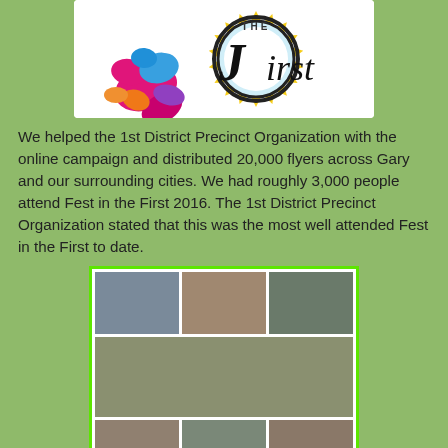[Figure (logo): Fest in the First logo — colorful paint splatter with a circular badge reading 'THE First' in stylized text with yellow starburst border]
We helped the 1st District Precinct Organization with the online campaign and distributed 20,000 flyers across Gary and our surrounding cities. We had roughly 3,000 people attend Fest in the First 2016. The 1st District Precinct Organization stated that this was the most well attended Fest in the First to date.
[Figure (photo): Collage of photos from Fest in the First 2016 event: top row shows three photos (people at street event, boy holding cotton candy, two women with guitar), middle shows wide crowd scene on a street, bottom row shows three more event photos. All surrounded by bright green border.]